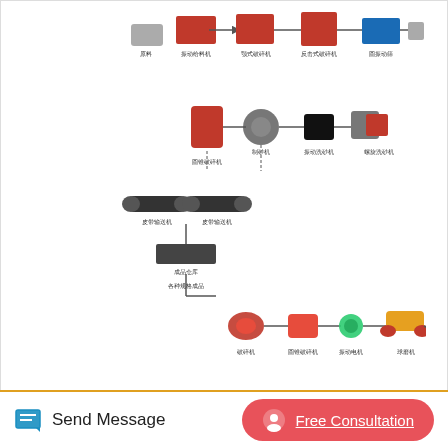[Figure (schematic): Mining/crushing equipment flow diagram showing various machines connected with process flow arrows, including crushers, conveyors, and processing equipment with Chinese text labels]
Related News
Hot Sale High Efficient Brand New Jaw Crushers
Easy Operation Aggregate Jaw Crusher
Send Message
Free Consultation